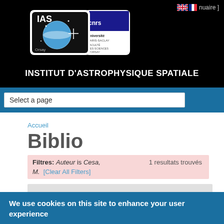[Figure (logo): IAS and CNRS/Université Paris-Saclay logos on black header background]
INSTITUT D'ASTROPHYSIQUE SPATIALE
Select a page
Accueil
Biblio
Filtres: Auteur is Cesa, M.  [Clear All Filters]  1 resultats trouvés
We use cookies on this site to enhance your user experience